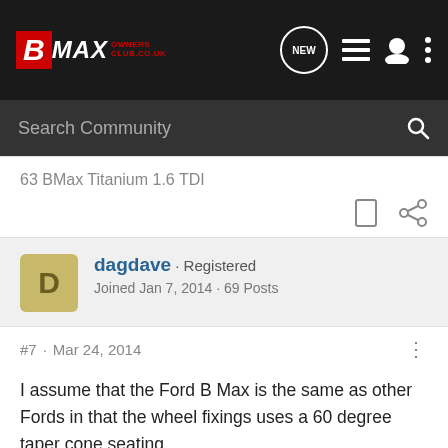B MAX OWNERS CLUB - Navigation bar with NEW, list, user, and more icons
Search Community
63 BMax Titanium 1.6 TDI
dagdave · Registered
Joined Jan 7, 2014 · 69 Posts
#7 · Mar 24, 2014
I assume that the Ford B Max is the same as other Fords in that the wheel fixings uses a 60 degree taper cone seating.
They will be compatible both Ford alloys and Ford steel wheels and therefore can be used to secure the spare wheel supplied with no worries whatsoever.